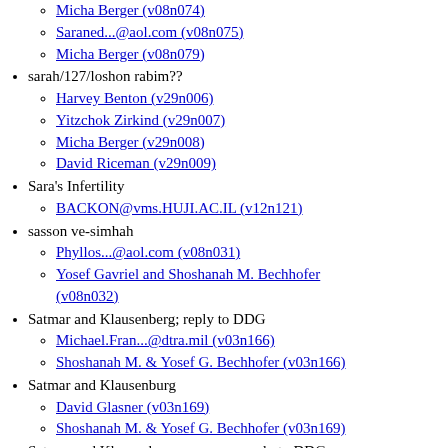Micha Berger (v08n074)
Saraned...@aol.com (v08n075)
Micha Berger (v08n079)
sarah/127/loshon rabim??
Harvey Benton (v29n006)
Yitzchok Zirkind (v29n007)
Micha Berger (v29n008)
David Riceman (v29n009)
Sara's Infertility
BACKON@vms.HUJI.AC.IL (v12n121)
sasson ve-simhah
Phyllos...@aol.com (v08n031)
Yosef Gavriel and Shoshanah M. Bechhofer (v08n032)
Satmar and Klausenberg; reply to DDG
Michael.Fran...@dtra.mil (v03n166)
Shoshanah M. & Yosef G. Bechhofer (v03n166)
Satmar and Klausenburg
David Glasner (v03n169)
Shoshanah M. & Yosef G. Bechhofer (v03n169)
Satmar and Klausenburg, one more reply to DDG
Michael.Fran...@dtra.mil (v03n171)
Satmar growing wheat in Arizona so that no rain
Marty Bluke (v31n122)
Zev Sero (v31n122)